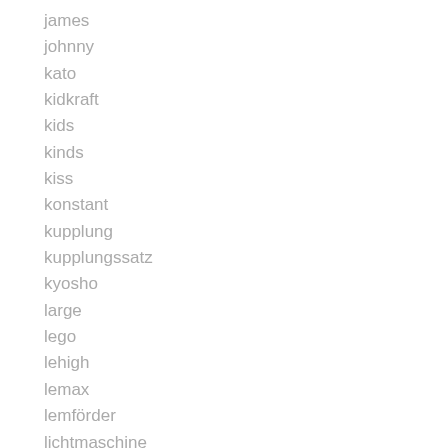james
johnny
kato
kidkraft
kids
kinds
kiss
konstant
kupplung
kupplungssatz
kyosho
large
lego
lehigh
lemax
lemförder
lichtmaschine
life